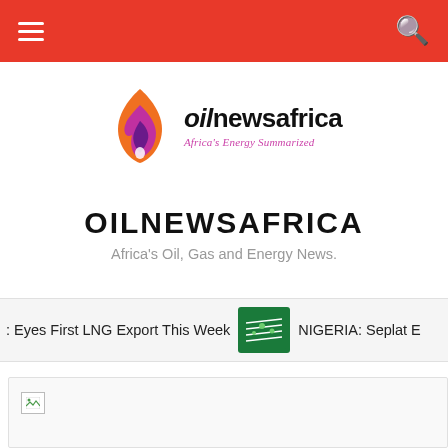Navigation bar with menu and search icons
[Figure (logo): OilNewsAfrica logo with flame graphic, site name 'oilnewsafrica' and tagline 'Africa's Energy Summarized']
OILNEWSAFRICA
Africa's Oil, Gas and Energy News.
Eyes First LNG Export This Week   NIGERIA: Seplat E
[Figure (screenshot): Broken image placeholder in a white card section]